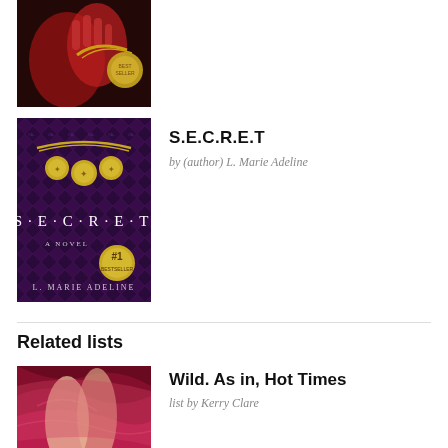[Figure (photo): Partial book cover showing red gloved hands against a dark background with a gold circular emblem]
[Figure (photo): Book cover of S.E.C.R.E.T by L. Marie Adeline, purple pattern background with gold chain necklace and coins, white text S·E·C·R·E·T, A Novel, badge #1]
S.E.C.R.E.T
by (author) L. Marie Adeline
Related lists
[Figure (photo): Book cover of S.E.C.R.E.T showing a woman in red/pink silky fabric, lower portion of cover]
Wild. As in, Hot Times
list by Kerry Clare